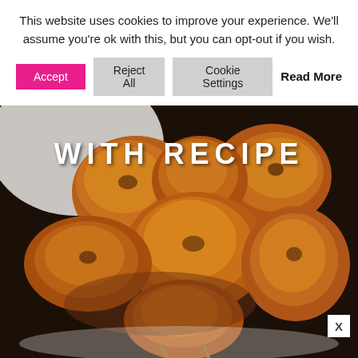This website uses cookies to improve your experience. We'll assume you're ok with this, but you can opt-out if you wish.
[Figure (screenshot): Cookie consent banner with Accept (magenta), Reject All (gray), Cookie Settings (gray) buttons and Read More link]
[Figure (photo): Photograph of fried chicken pieces on a white plate with text overlay reading WITH RECIPE]